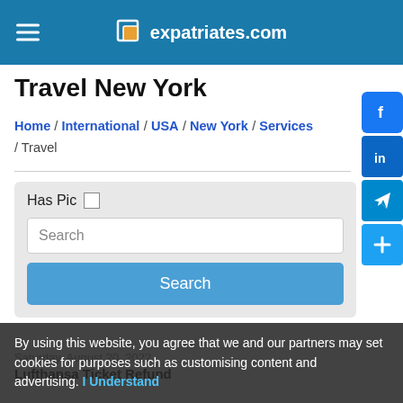expatriates.com
Travel New York
Home / International / USA / New York / Services / Travel
[Figure (screenshot): Search panel with Has Pic checkbox, search text input, and Search button]
Saturday, August 20, 2022
Lufthansa Ticket Refund
By using this website, you agree that we and our partners may set cookies for purposes such as customising content and advertising. I Understand